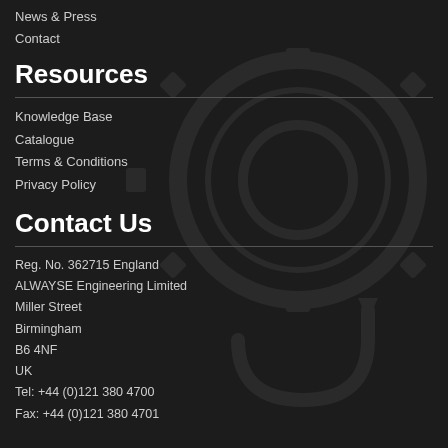News & Press
Contact
Resources
Knowledge Base
Catalogue
Terms & Conditions
Privacy Policy
Contact Us
Reg. No. 362715 England
ALWAYSE Engineering Limited
Miller Street
Birmingham
B6 4NF
UK
Tel: +44 (0)121 380 4700
Fax: +44 (0)121 380 4701